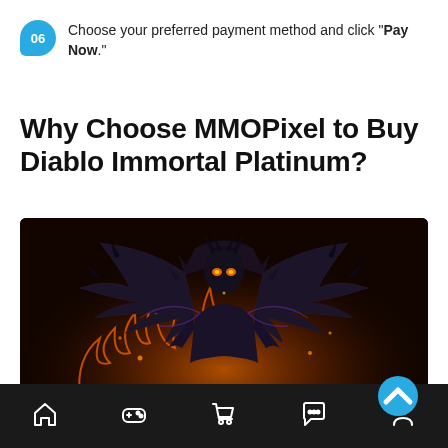Choose your preferred payment method and click "Pay Now."
Why Choose MMOPixel to Buy Diablo Immortal Platinum?
[Figure (illustration): Dark fantasy illustration of a demonic winged creature (Diablo) surrounded by fire and golden coins on a dark background]
Home | Games | Cart | Chat | Profile